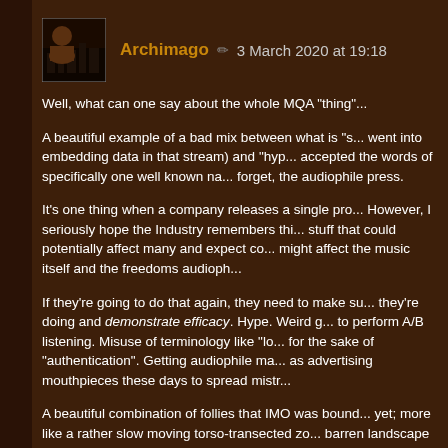[Figure (photo): User avatar thumbnail showing a figure with a cityscape background]
Archimago ✏ 3 March 2020 at 19:18
Well, what can one say about the whole MQA "thing"...
A beautiful example of a bad mix between what is "s... went into embedding data in that stream) and "hyp... accepted the words of specifically one well known na... forget, the audiophile press.
It's one thing when a company releases a single pro... However, I seriously hope the Industry remembers thi... stuff that could potentially affect many and expect co... might affect the music itself and the freedoms audioph...
If they're going to do that again, they need to make su... they're doing and demonstrate efficacy. Hype. Weird g... to perform A/B listening. Misuse of terminology like "lo... for the sake of "authentication". Getting audiophile ma... as advertising mouthpieces these days to spread mistr...
A beautiful combination of follies that IMO was bound... yet; more like a rather slow moving torso-transected zo... barren landscape hoping to come across a desperate...